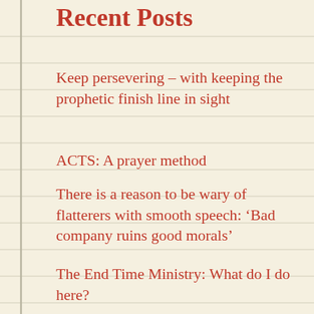Recent Posts
Keep persevering – with keeping the prophetic finish line in sight
ACTS: A prayer method
There is a reason to be wary of flatterers with smooth speech: 'Bad company ruins good morals'
The End Time Ministry: What do I do here?
The Romanticizing Jesus movement is